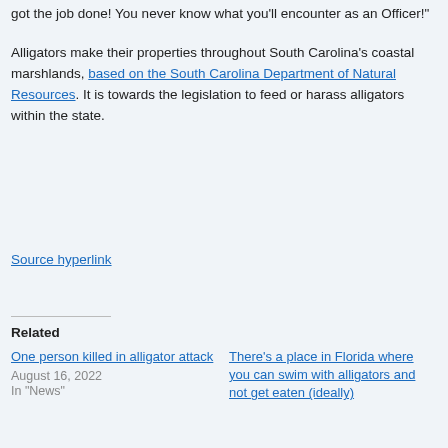got the job done! You never know what you'll encounter as an Officer!"
Alligators make their properties throughout South Carolina's coastal marshlands, based on the South Carolina Department of Natural Resources. It is towards the legislation to feed or harass alligators within the state.
Source hyperlink
Related
One person killed in alligator attack
August 16, 2022
In "News"
There's a place in Florida where you can swim with alligators and not get eaten (ideally)